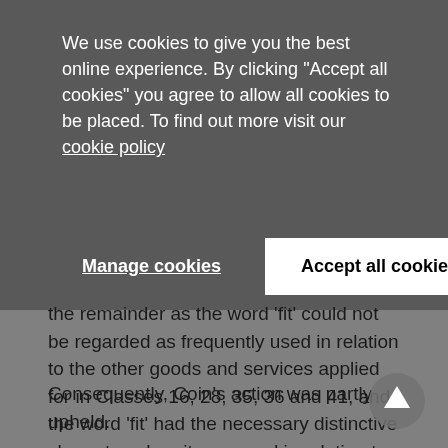We use cookies to give you the best online experience. By clicking "Accept all cookies" you agree to allow all cookies to be placed. To find out more visit our cookie policy
Manage cookies
Accept all cookies
the remainder as the word 'fit' could not be regarded as frequently used in relation to the other goods and services applied for in Classes 16, 28, 35, 36 and 41, and the word 'fit' had the necessary distinctive character when it was used in relation to those other goods and services.
Consequently, Coin's action was partly upheld.